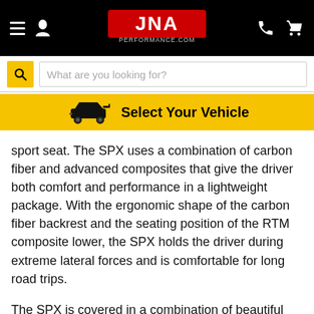[Figure (screenshot): JNA Performance website header with hamburger menu, user icon, JNA Performance logo in red, phone icon, and cart icon on black background]
[Figure (screenshot): Search bar with yellow search icon and placeholder text 'What are you looking for?']
[Figure (screenshot): Yellow 'Select Your Vehicle' banner with car icon]
sport seat. The SPX uses a combination of carbon fiber and advanced composites that give the driver both comfort and performance in a lightweight package. With the ergonomic shape of the carbon fiber backrest and the seating position of the RTM composite lower, the SPX holds the driver during extreme lateral forces and is comfortable for long road trips.
The SPX is covered in a combination of beautiful perforated and smooth Italian leather. The center of the SPX is covered in Alcantara suede to allow you to gain absolute control of your vehicle and enhance your driving experience. To finish